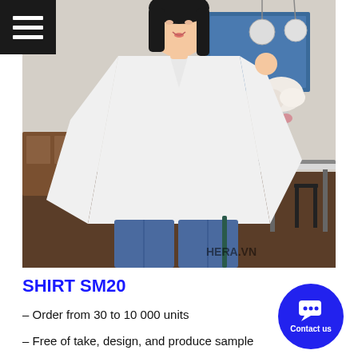[Figure (photo): Young Asian woman wearing a loose white V-neck long-sleeve shirt and blue jeans, posing in a cafe/restaurant setting with wooden furniture and white flowers in the background. Watermark 'HERA.VN' in bottom right.]
SHIRT SM20
– Order from 30 to 10 000 units
– Free of take, design, and produce sample